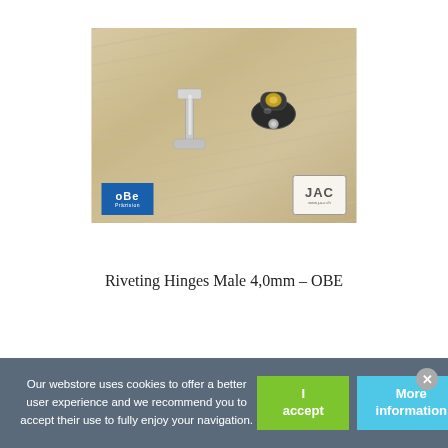[Figure (photo): Product photo of two riveting hinges (male parts) on a light wood surface. Left hinge is a silver/chrome T-bar style, right hinge is an oval black/silver mechanism. OBE Präzision logo in bottom-left corner of image, JAC logo in bottom-right corner.]
Riveting Hinges Male 4,0mm – OBE
Our webstore uses cookies to offer a better user experience and we recommend you to accept their use to fully enjoy your navigation.
I accept
More information